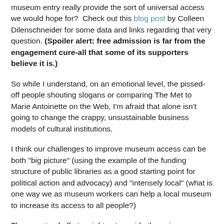museum entry really provide the sort of universal access we would hope for?  Check out this blog post by Colleen Dilenschneider for some data and links regarding that very question. (Spoiler alert: free admission is far from the engagement cure-all that some of its supporters believe it is.)
So while I understand, on an emotional level, the pissed-off people shouting slogans or comparing The Met to Marie Antoinette on the Web, I'm afraid that alone isn't going to change the crappy, unsustainable business models of cultural institutions.
I think our challenges to improve museum access can be both "big picture" (using the example of the funding structure of public libraries as a good starting point for political action and advocacy) and "intensely local" (what is one way we as museum workers can help a local museum to increase its access to all people?)
Those sorts of efforts might not provide the noisy, immediate gratification of social media posts about free admission